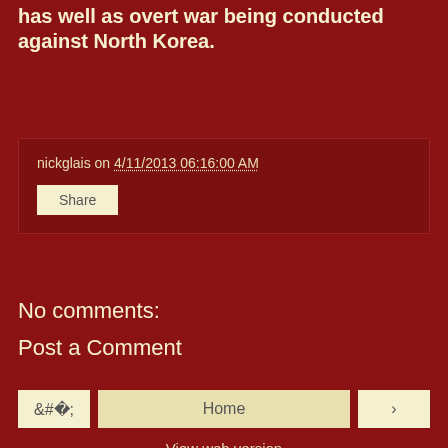has well as overt war being conducted against North Korea.
nickglais on 4/11/2013 06:16:00 AM
Share
No comments:
Post a Comment
‹  Home  ›  View web version  Powered by Blogger.